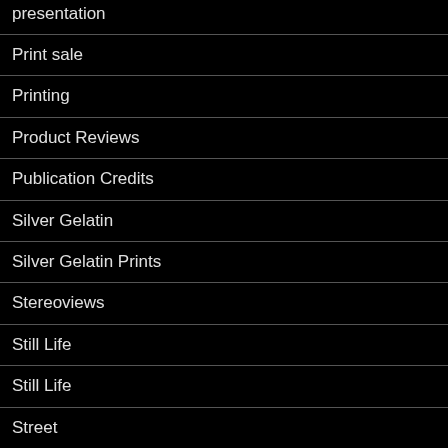presentation
Print sale
Printing
Product Reviews
Publication Credits
Silver Gelatin
Silver Gelatin Prints
Stereoviews
Still Life
Still Life
Street
Studio Photography
Taking Photographs